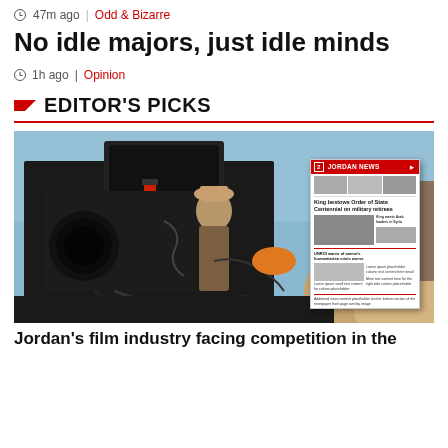47m ago | Odd & Bizarre
No idle majors, just idle minds
1h ago | Opinion
EDITOR'S PICKS
[Figure (photo): A film crew member operating a large camera rig on a desert location shoot. A Jordan News newspaper front page is overlaid on the right side of the image. The newspaper headline reads 'King bestows Order of State Centennial on military retirees'.]
Jordan's film industry facing competition in the